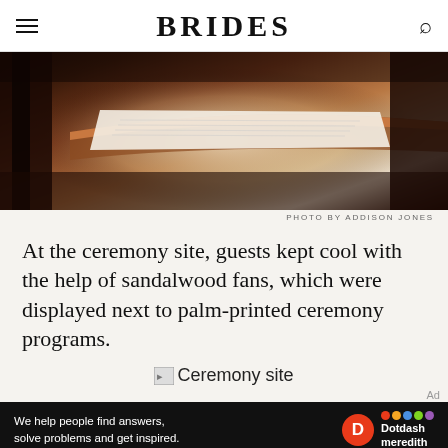BRIDES
[Figure (photo): Close-up photo of a wooden table with papers/programs on it, dark warm tones with copper/wood accents]
PHOTO BY ADDISON JONES
At the ceremony site, guests kept cool with the help of sandalwood fans, which were displayed next to palm-printed ceremony programs.
[Figure (photo): Broken image placeholder labeled 'Ceremony site']
Ceremony site
[Figure (other): Dotdash Meredith advertisement banner: 'We help people find answers, solve problems and get inspired.']